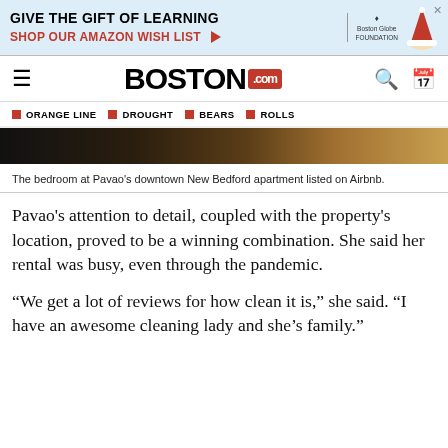[Figure (infographic): Advertisement banner: GIVE THE GIFT OF LEARNING / SHOP OUR AMAZON WISH LIST with Boston Globe Foundation logo]
BOSTON.com
ORANGE LINE
DROUGHT
BEARS
ROLLS
[Figure (photo): The bedroom at Pavao's downtown New Bedford apartment listed on Airbnb — cropped strip showing wooden furniture and textured surfaces.]
The bedroom at Pavao's downtown New Bedford apartment listed on Airbnb.
Pavao's attention to detail, coupled with the property's location, proved to be a winning combination. She said her rental was busy, even through the pandemic.
“We get a lot of reviews for how clean it is,” she said. “I have an awesome cleaning lady and she’s family.”